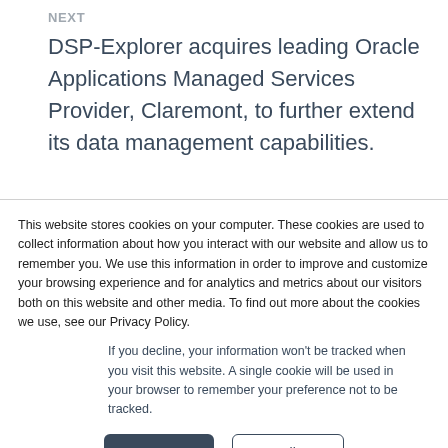NEXT
DSP-Explorer acquires leading Oracle Applications Managed Services Provider, Claremont, to further extend its data management capabilities.
This website stores cookies on your computer. These cookies are used to collect information about how you interact with our website and allow us to remember you. We use this information in order to improve and customize your browsing experience and for analytics and metrics about our visitors both on this website and other media. To find out more about the cookies we use, see our Privacy Policy.
If you decline, your information won't be tracked when you visit this website. A single cookie will be used in your browser to remember your preference not to be tracked.